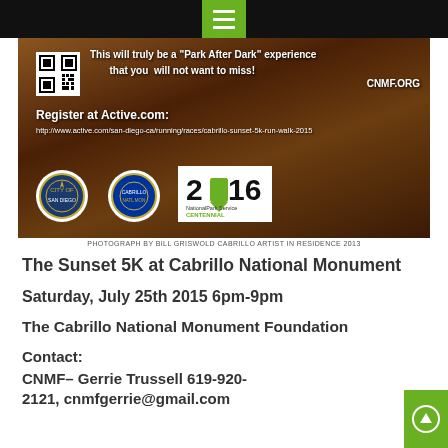[Figure (photo): Promotional banner for Cabrillo Sunset 5K Run/Walk event showing rocky terrain background. Contains text: 'This will truly be a Park After Dark experience that you will not want to miss! CNMF.ORG', a QR code, 'Register at Active.com:' with URL http://www.active.com/san-diego-ca/running/races/cabrillo-sunset-5k-run-walk-2015, and three logos including two circular emblems and the National Park Service 2016 Centennial logo.]
PHOTOGRAPH BY BILL GRISWOLD CABRILLO ARTIST IN RESIDENCE 2013
The Sunset 5K at Cabrillo National Monument
Saturday, July 25th 2015 6pm-9pm
The Cabrillo National Monument Foundation
Contact:
CNMF– Gerrie Trussell 619-920-2121, cnmfgerrie@gmail.com